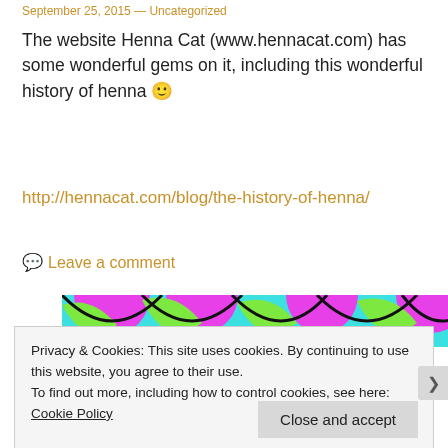September 25, 2015 — Uncategorized
The website Henna Cat (www.hennacat.com) has some wonderful gems on it, including this wonderful history of henna 🙂
http://hennacat.com/blog/the-history-of-henna/
💬 Leave a comment
[Figure (photo): Colorful henna-style art with pink, green, cyan, and black patterns]
Privacy & Cookies: This site uses cookies. By continuing to use this website, you agree to their use.
To find out more, including how to control cookies, see here: Cookie Policy